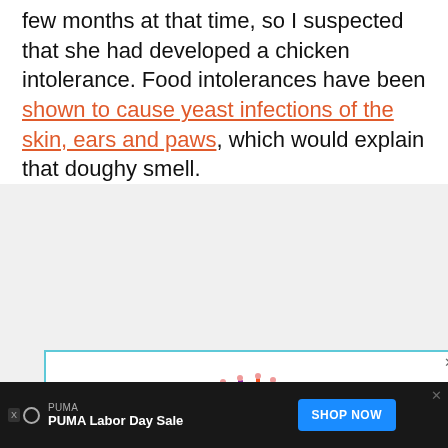few months at that time, so I suspected that she had developed a chicken intolerance. Food intolerances have been shown to cause yeast infections of the skin, ears and paws, which would explain that doughy smell.
[Figure (illustration): Advertisement image showing colorful illustrated figures of people arranged in a heart shape on a white background, with a cyan/teal border and a close (X) button in the top right corner.]
[Figure (infographic): Bottom advertisement banner for PUMA Labor Day Sale with dark background, PUMA brand name, 'PUMA Labor Day Sale' text, a blue 'SHOP NOW' button, and a close X button. Includes XD ad icon.]